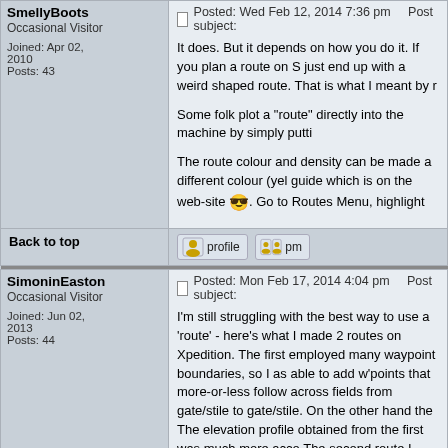SmellyBoots
Occasional Visitor
Joined: Apr 02, 2010
Posts: 43
Posted: Wed Feb 12, 2014 7:36 pm   Post subject:
It does. But it depends on how you do it. If you plan a route on S just end up with a weird shaped route. That is what I meant by r

Some folk plot a "route" directly into the machine by simply putti

The route colour and density can be made a different colour (yel guide which is on the web-site. Go to Routes Menu, highlight
Back to top
SimoninEaston
Occasional Visitor
Joined: Jun 02, 2013
Posts: 44
Posted: Mon Feb 17, 2014 4:04 pm   Post subject:
I'm still struggling with the best way to use a 'route' - here's what I made 2 routes on Xpedition. The first employed many waypoint boundaries, so I as able to add w'points that more-or-less follow across fields from gate/stile to gate/stile. On the other hand the The elevation profile obtained from the first was much more acco The second route I made had fewer w'points and so was more o was there as a guide, but was often slightly to one side of the ac I suppose my question is the same one that I poised earlier - Is t use it to suit your preferences! but I'll ask for comments anyway!
Back to top